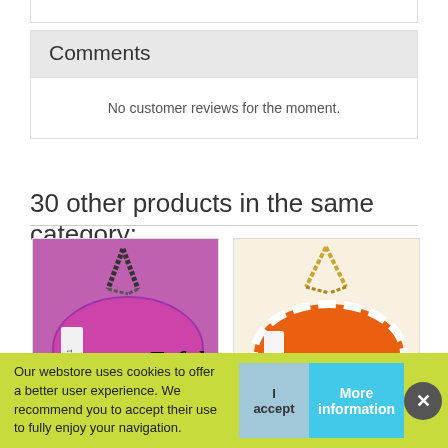Comments
No customer reviews for the moment.
30 other products in the same category:
[Figure (photo): Pink/purple wristband roll tied with striped purple ribbon, with 'Erfolg' text]
[Figure (photo): Orange and white striped wristband roll tied with golden ribbon, with 'PARTY' text]
Our webstore uses cookies to offer a better user experience. We recommend you to accept their use to fully enjoy your navigation.